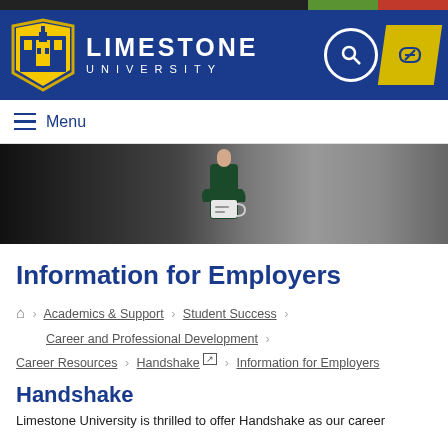[Figure (logo): Limestone University logo with shield and name in header]
[Figure (photo): Hero banner image showing a person in dark clothing holding a mug, gradient dark background]
Information for Employers
Home > Academics & Support > Student Success > Career and Professional Development > Career Resources > Handshake > Information for Employers
Handshake
Limestone University is thrilled to offer Handshake as our career